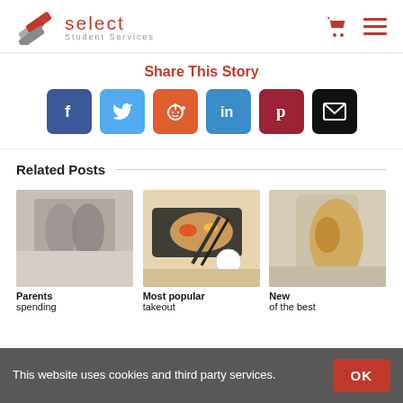Select Student Services
Share This Story
[Figure (infographic): Social share buttons: Facebook, Twitter, Reddit, LinkedIn, Pinterest, Email]
Related Posts
[Figure (photo): Two people doing yoga or stretching pose near a window]
[Figure (photo): Sushi and chopsticks on a tray with dipping sauce]
[Figure (photo): Woman in yellow jacket near a historic building]
Parents spending
Most popular takeout
New of the best
This website uses cookies and third party services.